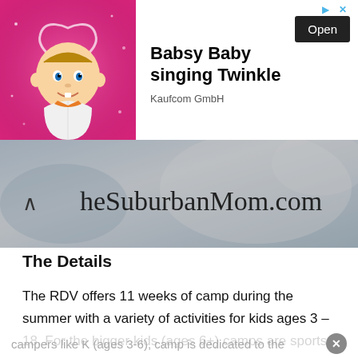[Figure (screenshot): Ad banner for 'Babsy Baby singing Twinkle' by Kaufcom GmbH, with cartoon baby image on left, bold title text, Open button, and navigation arrows.]
[Figure (screenshot): Website header image for theSuburbanMom.com showing logo text over a blurred blue/white background.]
The Details
The RDV offers 11 weeks of camp during the summer with a variety of activities for kids ages 3 – 18. For the bigger kids (ages 6+) camps are sports themed with a general Kid's Sports Camp, Tennis Camps, Swim Camps and more. For the mini campers like K (ages 3-6), camp is dedicated to the